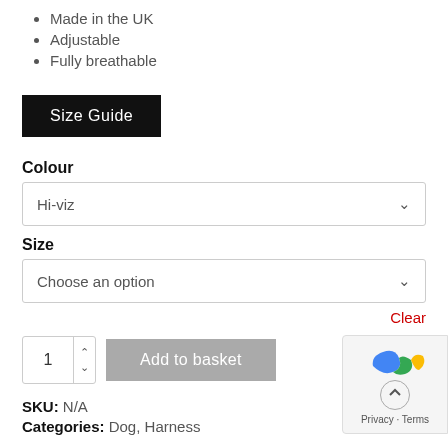Made in the UK
Adjustable
Fully breathable
Size Guide
Colour
Hi-viz
Size
Choose an option
Clear
1
Add to basket
SKU: N/A
Categories: Dog, Harness
Description    Additional information